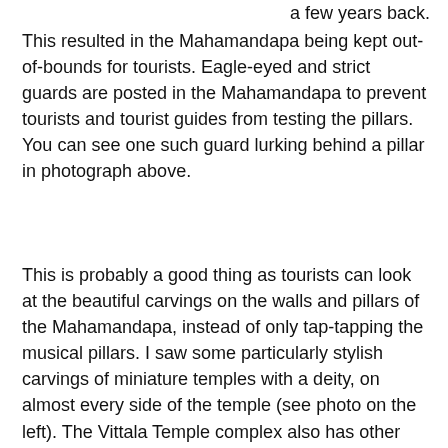a few years back. This resulted in the Mahamandapa being kept out-of-bounds for tourists. Eagle-eyed and strict guards are posted in the Mahamandapa to prevent tourists and tourist guides from testing the pillars. You can see one such guard lurking behind a pillar in photograph above.
This is probably a good thing as tourists can look at the beautiful carvings on the walls and pillars of the Mahamandapa, instead of only tap-tapping the musical pillars. I saw some particularly stylish carvings of miniature temples with a deity, on almost every side of the temple (see photo on the left). The Vittala Temple complex also has other attractions like the Kalyana Mandapa or the ceremonial marriage hall, a many (100?) pillared hall, as well as another mandapa whose name I forget now. Photographs of these attractions